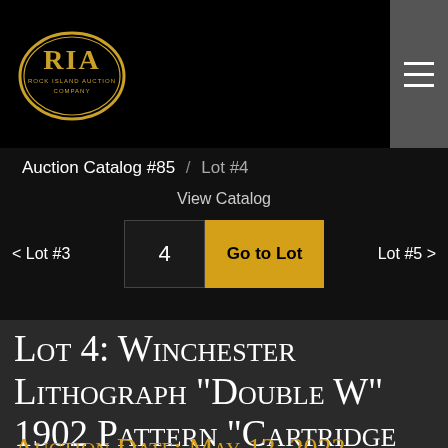[Figure (logo): Rock Island Auction Company oval logo with gold border and RIA lettering]
Auction Catalog #85  /  Lot #4
View Catalog
< Lot #3
4  Go to Lot
Lot #5 >
Lot 4: Winchester Lithograph "Double W" 1902 Pattern "Cartridge Board"
Auction Date: May 12, 2022